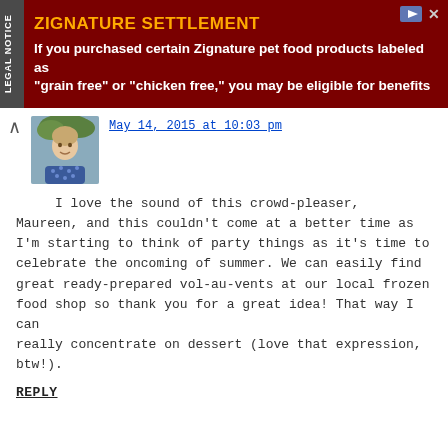[Figure (infographic): Dark red advertisement banner for Zignature Settlement with legal notice tab on left side. Yellow bold title 'ZIGNATURE SETTLEMENT' and white bold text below about eligibility for benefits.]
May 14, 2015 at 10:03 pm
I love the sound of this crowd-pleaser, Maureen, and this couldn't come at a better time as I'm starting to think of party things as it's time to celebrate the oncoming of summer. We can easily find great ready-prepared vol-au-vents at our local frozen food shop so thank you for a great idea! That way I can really concentrate on dessert (love that expression, btw!).
REPLY
Maureen says
May 15, 2015 at 8:48 am